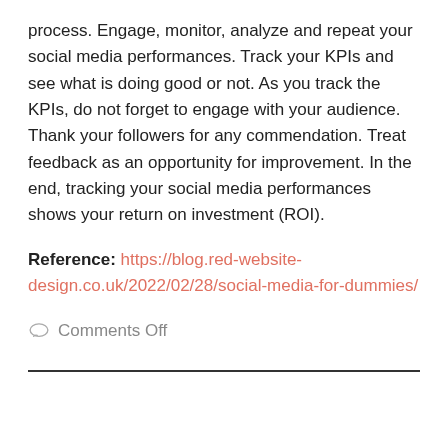process. Engage, monitor, analyze and repeat your social media performances. Track your KPIs and see what is doing good or not. As you track the KPIs, do not forget to engage with your audience. Thank your followers for any commendation. Treat feedback as an opportunity for improvement. In the end, tracking your social media performances shows your return on investment (ROI).
Reference: https://blog.red-website-design.co.uk/2022/02/28/social-media-for-dummies/
Comments Off